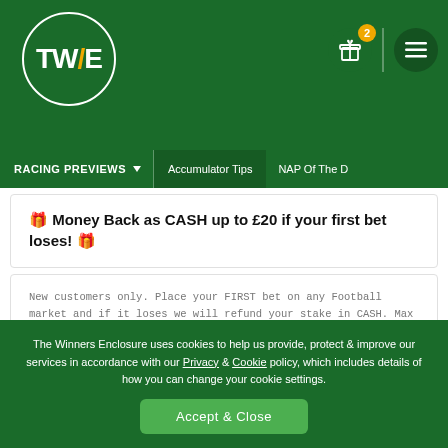[Figure (logo): TWE logo in white circle on green background with gift icon (badge showing 2) and hamburger menu icon]
RACING PREVIEWS | Accumulator Tips | NAP Of The D
🎁 Money Back as CASH up to £20 if your first bet loses! 🎁
New customers only. Place your FIRST bet on any Football market and if it loses we will refund your stake in CASH. Max refund for this offer is £20. Only deposits made using cards will qualify for this promotion. T&Cs apply.
Claim Bonus
The Winners Enclosure uses cookies to help us provide, protect & improve our services in accordance with our Privacy & Cookie policy, which includes details of how you can change your cookie settings.
Accept & Close